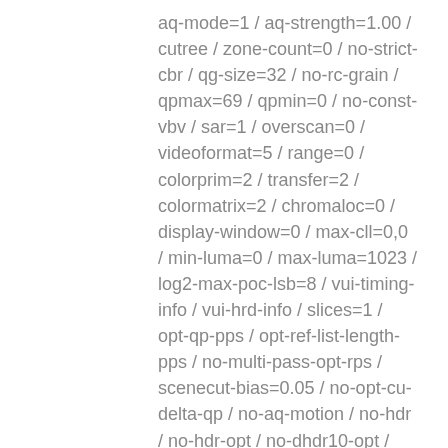aq-mode=1 / aq-strength=1.00 / cutree / zone-count=0 / no-strict-cbr / qg-size=32 / no-rc-grain / qpmax=69 / qpmin=0 / no-const-vbv / sar=1 / overscan=0 / videoformat=5 / range=0 / colorprim=2 / transfer=2 / colormatrix=2 / chromaloc=0 / display-window=0 / max-cll=0,0 / min-luma=0 / max-luma=1023 / log2-max-poc-lsb=8 / vui-timing-info / vui-hrd-info / slices=1 / opt-qp-pps / opt-ref-list-length-pps / no-multi-pass-opt-rps / scenecut-bias=0.05 / no-opt-cu-delta-qp / no-aq-motion / no-hdr / no-hdr-opt / no-dhdr10-opt / analysis-reuse-level=5 / scale-factor=0 / refine-intra=0 / refine-inter=0 / refine-mv=0 / no-limit-sao / ctu-info=0
Default : 0
Forced : 0